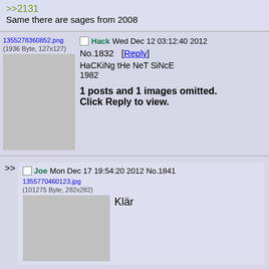>>2131
Same there are sages from 2008
[Figure (screenshot): Forum post by Hack, Wed Dec 12 03:12:40 2012, No.1832. Image thumbnail: 1355278360852.png (1936 Byte, 127x127). Post text: HaCKiNg tHe NeT SiNcE 1982. 1 posts and 1 images omitted. Click Reply to view.]
[Figure (screenshot): Forum reply by Joe, Mon Dec 17 19:54:20 2012, No.1841. Image: 1355770460123.jpg (101275 Byte, 282x282). Post text: Klär]